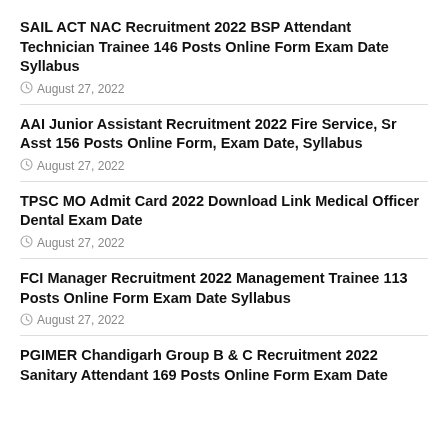SAIL ACT NAC Recruitment 2022 BSP Attendant Technician Trainee 146 Posts Online Form Exam Date Syllabus
August 27, 2022
AAI Junior Assistant Recruitment 2022 Fire Service, Sr Asst 156 Posts Online Form, Exam Date, Syllabus
August 27, 2022
TPSC MO Admit Card 2022 Download Link Medical Officer Dental Exam Date
August 27, 2022
FCI Manager Recruitment 2022 Management Trainee 113 Posts Online Form Exam Date Syllabus
August 27, 2022
PGIMER Chandigarh Group B & C Recruitment 2022 Sanitary Attendant 169 Posts Online Form Exam Date